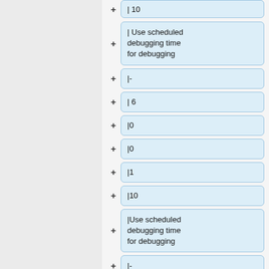[Figure (flowchart): A vertical list of collapsible tree nodes shown as rounded rectangle boxes with blue background. Each row has a '+' expand button on the left and a node label inside the box. Nodes include: |10 (partial, top), | Use scheduled debugging time for debugging, |-, | 6, |0, |0, |1, |10, |Use scheduled debugging time for debugging, |-, |7 (partial, bottom). Left panel is a grey sidebar.]